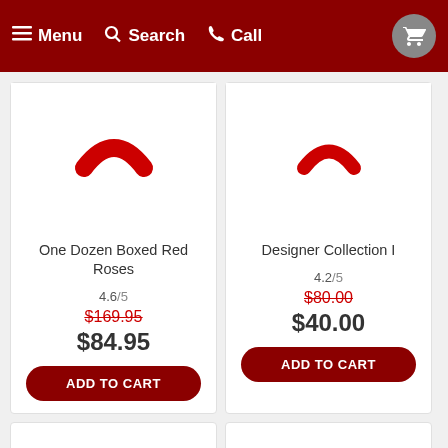Menu  Search  Call
One Dozen Boxed Red Roses
4.6/5
$169.95
$84.95
ADD TO CART
Designer Collection I
4.2/5
$80.00
$40.00
ADD TO CART